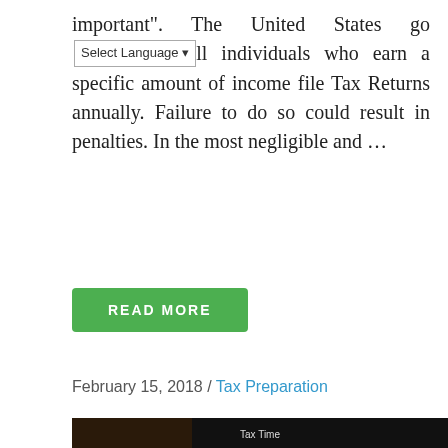important". The United States go[Select Language]ll individuals who earn a specific amount of income file Tax Returns annually. Failure to do so could result in penalties. In the most negligible and …
READ MORE
February 15, 2018 / Tax Preparation
[Figure (photo): Close-up photo of a calculator with a display screen reading 'Tax Time'. The calculator has keys labeled COST, SELL, MARON, TAX+, TAX-, FEED, 5/4, DEC, RATE, PRINT. A document with printed text is visible in the background.]